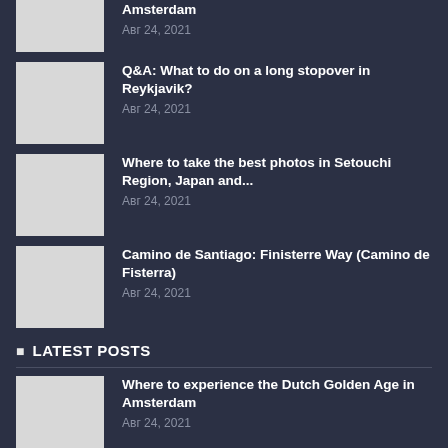[Figure (photo): Thumbnail image placeholder for Amsterdam article (top, partially visible)]
Amsterdam
Авг 24, 2021
[Figure (photo): Thumbnail image placeholder for Reykjavik article]
Q&A: What to do on a long stopover in Reykjavik?
Авг 24, 2021
[Figure (photo): Thumbnail image placeholder for Setouchi Region article]
Where to take the best photos in Setouchi Region, Japan and...
Авг 24, 2021
[Figure (photo): Thumbnail image placeholder for Camino de Santiago article]
Camino de Santiago: Finisterre Way (Camino de Fisterra)
Авг 24, 2021
LATEST POSTS
[Figure (photo): Thumbnail image placeholder for Dutch Golden Age article]
Where to experience the Dutch Golden Age in Amsterdam
Авг 24, 2021